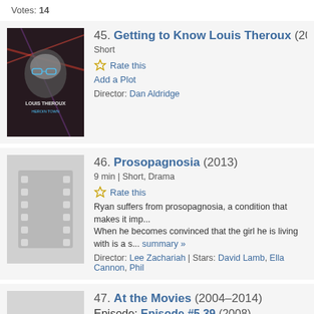Votes: 14
45. Getting to Know Louis Theroux (2017) - Short - Rate this - Add a Plot - Director: Dan Aldridge
46. Prosopagnosia (2013) - 9 min | Short, Drama - Rate this - Ryan suffers from prosopagnosia, a condition that makes it imp... When he becomes convinced that the girl he is living with is a s... summary » - Director: Lee Zachariah | Stars: David Lamb, Ella Cannon, Phil
47. At the Movies (2004–2014) Episode: Episode #5.39 (2008) - News, Talk-Show